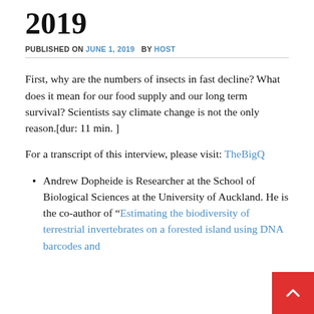2019
PUBLISHED ON JUNE 1, 2019   BY HOST
First, why are the numbers of insects in fast decline? What does it mean for our food supply and our long term survival? Scientists say climate change is not the only reason.[dur: 11 min. ]
For a transcript of this interview, please visit: TheBigQ
Andrew Dopheide is Researcher at the School of Biological Sciences at the University of Auckland. He is the co-author of “Estimating the biodiversity of terrestrial invertebrates on a forested island using DNA barcodes and